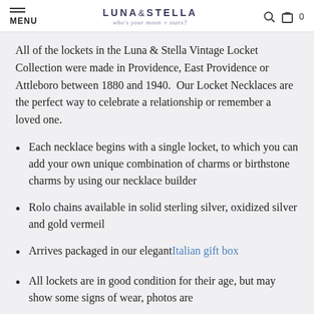MENU  LUNA & STELLA who's your moon + stars?  0
All of the lockets in the Luna & Stella Vintage Locket Collection were made in Providence, East Providence or Attleboro between 1880 and 1940.  Our Locket Necklaces are the perfect way to celebrate a relationship or remember a loved one.
Each necklace begins with a single locket, to which you can add your own unique combination of charms or birthstone charms by using our necklace builder
Rolo chains available in solid sterling silver, oxidized silver and gold vermeil
Arrives packaged in our elegant Italian gift box
All lockets are in good condition for their age, but may show some signs of wear, photos are